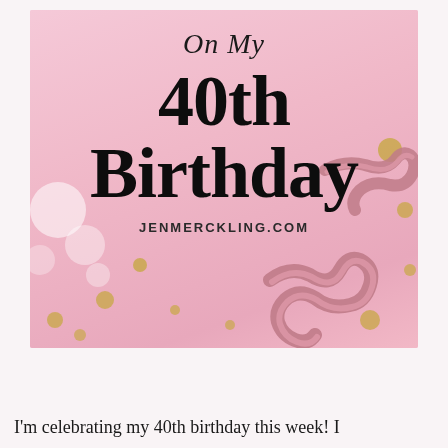[Figure (photo): Pink background with gold/rose gold ribbon confetti and bokeh lights. Text overlay reads 'On My 40th Birthday' in decorative serif font, with JENMERCKLING.COM below.]
I'm celebrating my 40th birthday this week! I